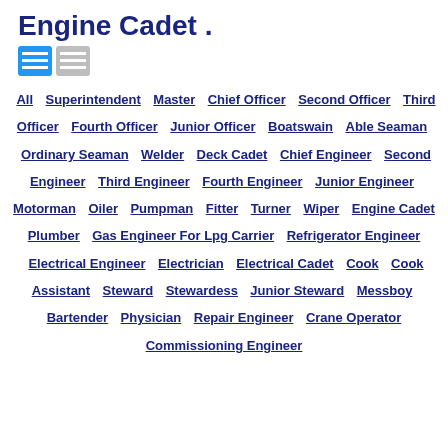Engine Cadet .
[Figure (other): Two icon buttons for list view and grid view]
All  Superintendent  Master  Chief Officer  Second Officer  Third Officer  Fourth Officer  Junior Officer  Boatswain  Able Seaman  Ordinary Seaman  Welder  Deck Cadet  Chief Engineer  Second Engineer  Third Engineer  Fourth Engineer  Junior Engineer  Motorman  Oiler  Pumpman  Fitter  Turner  Wiper  Engine Cadet  Plumber  Gas Engineer For Lpg Carrier  Refrigerator Engineer  Electrical Engineer  Electrician  Electrical Cadet  Cook  Cook Assistant  Steward  Stewardess  Junior Steward  Messboy  Bartender  Physician  Repair Engineer  Crane Operator  Commissioning Engineer